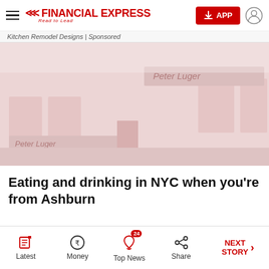Financial Express — Read to Lead
Kitchen Remodel Designs | Sponsored
[Figure (photo): Exterior storefront of 'Peter Luger' steakhouse in NYC, faded/washed-out reddish-tone image showing the facade with signage visible twice.]
Eating and drinking in NYC when you're from Ashburn
Latest | Money | Top News (24) | Share | NEXT STORY